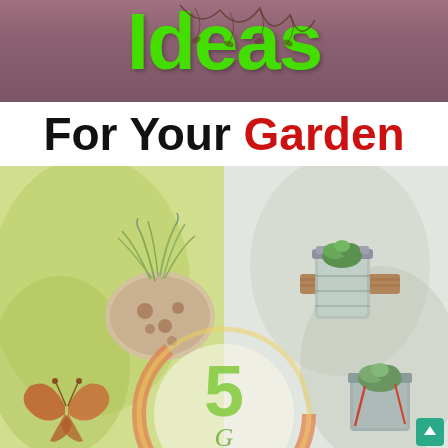Ideas For Your Garden
[Figure (illustration): Collage of garden decoration ideas: air plant in a seashell, succulent in a mason jar mounted on wood, butterfly garden ornament, small succulent in a vintage tin, overlaid with a circular badge showing the number 5 and cursive text beginning with 'G', on a mixed green and light background with leaf textures.]